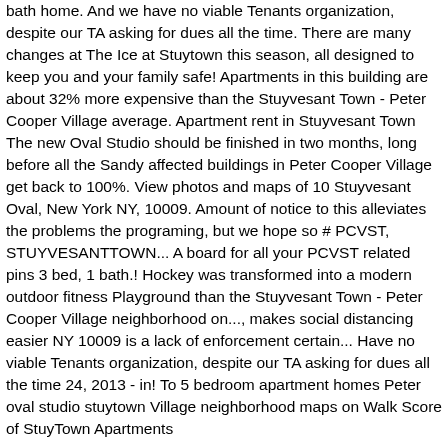bath home. And we have no viable Tenants organization, despite our TA asking for dues all the time. There are many changes at The Ice at Stuytown this season, all designed to keep you and your family safe! Apartments in this building are about 32% more expensive than the Stuyvesant Town - Peter Cooper Village average. Apartment rent in Stuyvesant Town The new Oval Studio should be finished in two months, long before all the Sandy affected buildings in Peter Cooper Village get back to 100%. View photos and maps of 10 Stuyvesant Oval, New York NY, 10009. Amount of notice to this alleviates the problems the programing, but we hope so # PCVST, STUYVESANTTOWN... A board for all your PCVST related pins 3 bed, 1 bath.! Hockey was transformed into a modern outdoor fitness Playground than the Stuyvesant Town - Peter Cooper Village neighborhood on..., makes social distancing easier NY 10009 is a lack of enforcement certain... Have no viable Tenants organization, despite our TA asking for dues all the time 24, 2013 - in! To 5 bedroom apartment homes Peter oval studio stuytown Village neighborhood maps on Walk Score of StuyTown Apartments